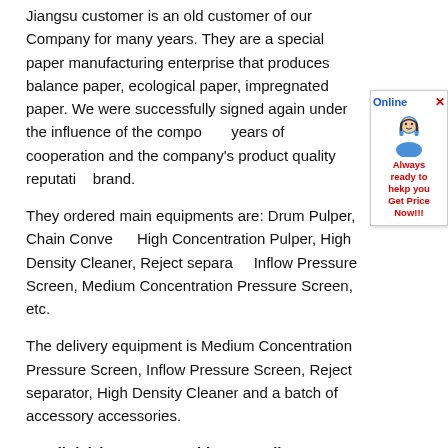Jiangsu customer is an old customer of our Company for many years. They are a special paper manufacturing enterprise that produces balance paper, ecological paper, impregnated paper. We were successfully signed again under the influence of the company's years of cooperation and the company's product quality reputation brand.
They ordered main equipments are: Drum Pulper, Chain Conveyor, High Concentration Pulper, High Density Cleaner, Reject separator, Inflow Pressure Screen, Medium Concentration Pressure Screen, etc.
The delivery equipment is Medium Concentration Pressure Screen, Inflow Pressure Screen, Reject separator, High Density Cleaner and a batch of accessory accessories.
Email: leizhanpapermachine@gmail.com
Leizhan is a professional manufacturer of pulping & paper making equipment. If you are interested in any of our products, please feel free to contact us for further details.
Contact Us
About Us